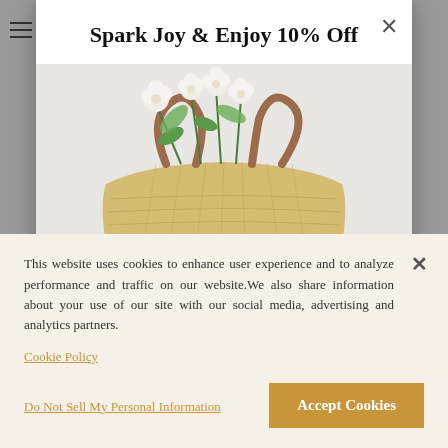Spark Joy & Enjoy 10% Off
[Figure (photo): A woven straw market tote bag with brown leather handles, filled with white flowers, photographed against a light grey background.]
This website uses cookies to enhance user experience and to analyze performance and traffic on our website. We also share information about your use of our site with our social media, advertising and analytics partners.
Cookie Policy
Do Not Sell My Personal Information
Accept Cookies